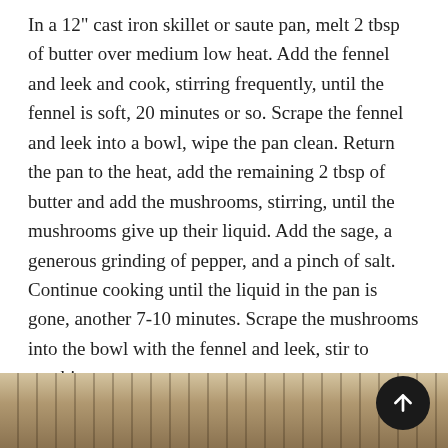In a 12" cast iron skillet or saute pan, melt 2 tbsp of butter over medium low heat. Add the fennel and leek and cook, stirring frequently, until the fennel is soft, 20 minutes or so. Scrape the fennel and leek into a bowl, wipe the pan clean. Return the pan to the heat, add the remaining 2 tbsp of butter and add the mushrooms, stirring, until the mushrooms give up their liquid. Add the sage, a generous grinding of pepper, and a pinch of salt. Continue cooking until the liquid in the pan is gone, another 7-10 minutes. Scrape the mushrooms into the bowl with the fennel and leek, stir to combine.
Beat the eggs and milk together until combined.
Get clozaril
[Figure (photo): Bottom strip showing a partial photo of what appears to be a cast iron skillet or cooking surface, partially visible at the bottom of the page.]